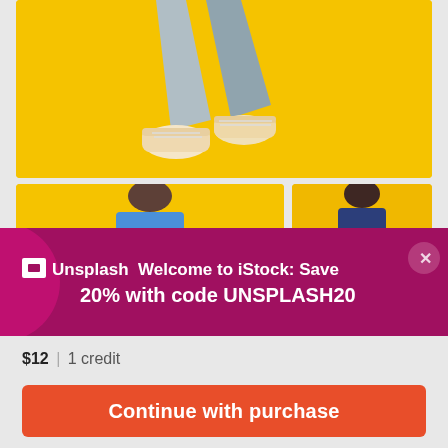[Figure (photo): Person's legs in light blue jeans and cream/white sneakers walking on a bright yellow background, cropped at mid-thigh]
[Figure (photo): Two cropped images side by side on yellow backgrounds with partial figures visible]
🔲 Unsplash Welcome to iStock: Save 20% with code UNSPLASH20
$12 | 1 credit
Continue with purchase